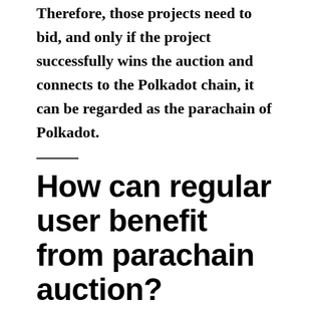Therefore, those projects need to bid, and only if the project successfully wins the auction and connects to the Polkadot chain, it can be regarded as the parachain of Polkadot.
How can regular user benefit from parachain auction?
The parachain auction has begun, and users can benefit from parachain auction